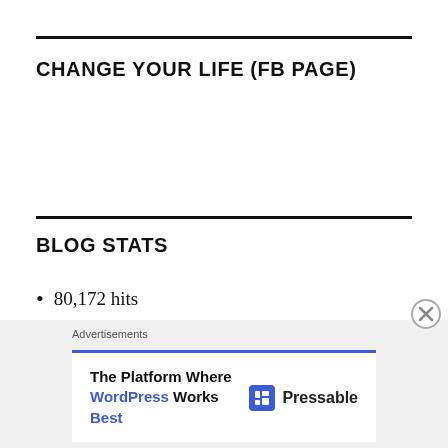CHANGE YOUR LIFE (FB PAGE)
BLOG STATS
80,172 hits
Advertisements
The Platform Where WordPress Works Best  Pressable